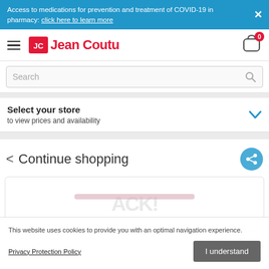Access to medications for prevention and treatment of COVID-19 in pharmacy: click here to learn more
[Figure (logo): Jean Coutu pharmacy logo with hamburger menu and cart icon showing 0 items]
Search
Select your store
to view prices and availability
< Continue shopping
[Figure (illustration): Product card placeholder area with watermark text]
This website uses cookies to provide you with an optimal navigation experience.
Privacy Protection Policy
I understand